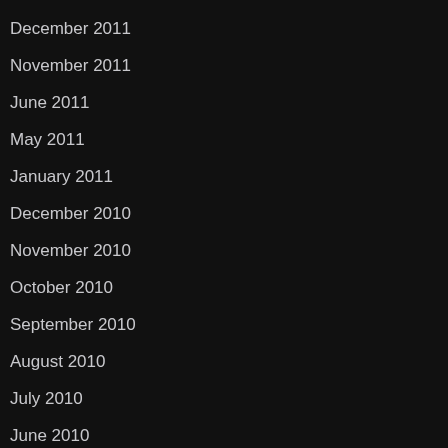December 2011
November 2011
June 2011
May 2011
January 2011
December 2010
November 2010
October 2010
September 2010
August 2010
July 2010
June 2010
May 2010
April 2010
March 2010